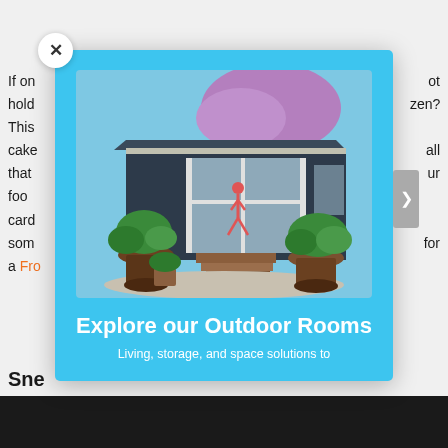If on... not hold... zen? This... cake... all that... ur food... card... some... for a Fro...
[Figure (photo): A modal popup with sky-blue background showing a modern dark-clad outdoor studio/room with large glass sliding door, a person in yoga pose visible inside, purple-blooming tree above, wooden deck steps, potted plants in foreground. Below the photo: 'Explore our Outdoor Rooms' heading and 'Living, storage, and space solutions to' subtitle text.]
Sne
Living, storage, and space solutions to